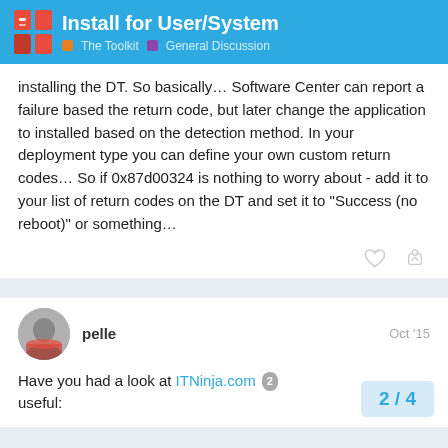Install for User/System — The Toolkit · General Discussion
installing the DT. So basically… Software Center can report a failure based the return code, but later change the application to installed based on the detection method. In your deployment type you can define your own custom return codes… So if 0x87d00324 is nothing to worry about - add it to your list of return codes on the DT and set it to "Success (no reboot)" or something…
pelle  Oct '15
Have you had a look at ITNinja.com 2 useful:
2 / 4